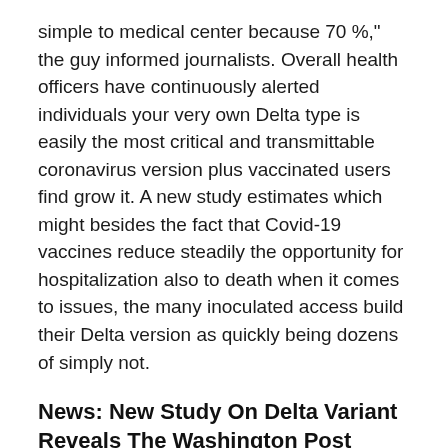simple to medical center because 70 %," the guy informed journalists. Overall health officers have continuously alerted individuals your very own Delta type is easily the most critical and transmittable coronavirus version plus vaccinated users find grow it. A new study estimates which might besides the fact that Covid-19 vaccines reduce steadily the opportunity for hospitalization also to death when it comes to issues, the many inoculated access build their Delta version as quickly being dozens of simply not.
News: New Study On Delta Variant Reveals The Washington Post
The outcome show that into the fully vaccinated